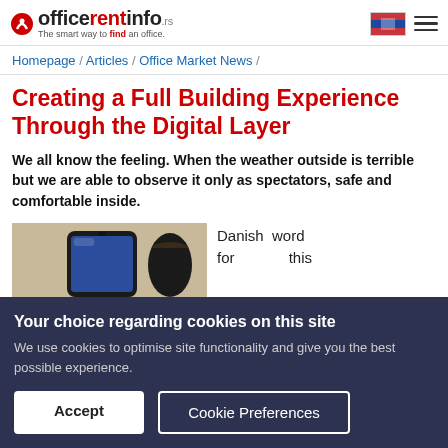officerentinfo.rs — The smart way to find an office.
Homepage / Articles / Office Market News /
Creating a Full Building Experience Through the Digital Layer
We all know the feeling. When the weather outside is terrible but we are able to observe it only as spectators, safe and comfortable inside.
[Figure (photo): A smartphone lying on a table next to a cup of coffee]
Danish word for this
Your choice regarding cookies on this site
We use cookies to optimise site functionality and give you the best possible experience.
Accept  Cookie Preferences